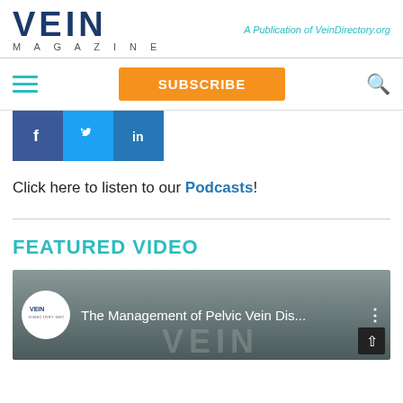VEIN MAGAZINE — A Publication of VeinDirectory.org
[Figure (screenshot): Navigation bar with hamburger menu (teal), SUBSCRIBE button (orange), and search icon]
[Figure (screenshot): Social media buttons: Facebook (dark blue), Twitter (light blue), LinkedIn (blue)]
Click here to listen to our Podcasts!
FEATURED VIDEO
[Figure (screenshot): YouTube video thumbnail: The Management of Pelvic Vein Dis... with Vein Directory Group logo]